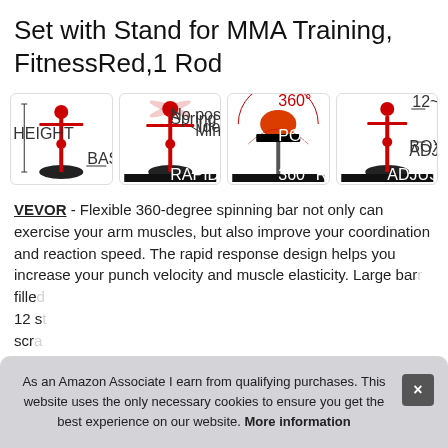Set with Stand for MMA Training, FitnessRed,1 Rod
[Figure (illustration): Four product images showing a boxing speed bag stand set with dimensions, rapid rebound ball, 360-degree reaction rod, and adjustable height features]
VEVOR - Flexible 360-degree spinning bar not only can exercise your arm muscles, but also improve your coordination and reaction speed. The rapid response design helps you increase your punch velocity and muscle elasticity. Large base filled with water or sand (each bag is filled with 12 steel rods to prevent scratching)
As an Amazon Associate I earn from qualifying purchases. This website uses the only necessary cookies to ensure you get the best experience on our website. More information